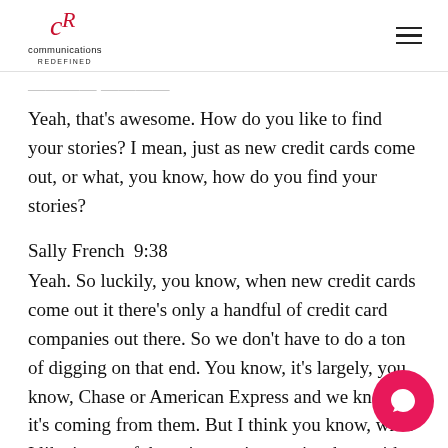communications REDEFINED
Yeah, that's awesome. How do you like to find your stories? I mean, just as new credit cards come out, or what, you know, how do you find your stories?
Sally French  9:38
Yeah. So luckily, you know, when new credit cards come out it there's only a handful of credit card companies out there. So we don't have to do a ton of digging on that end. You know, it's largely, you know, Chase or American Express and we know it's coming from them. But I think you know, what I like is sort of those interesting stories that a either something really quirky and offbeat, or sort of like a trend that you might not piece